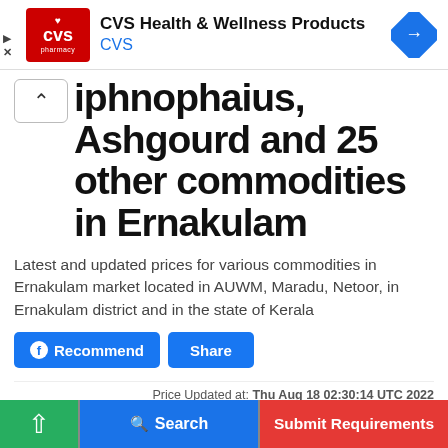[Figure (other): CVS Health & Wellness Products advertisement banner with CVS pharmacy logo (red square with heart), text 'CVS Health & Wellness Products' and 'CVS', and a blue diamond navigation icon]
iphnophaius, Ashgourd and 25 other commodities in Ernakulam
Latest and updated prices for various commodities in Ernakulam market located in AUWM, Maradu, Netoor, in Ernakulam district and in the state of Kerala
Carrot market price in Ernakulam
Price Updated at: Thu Aug 18 02:30:14 UTC 2022
↑  Search  Submit Requirements  mmod